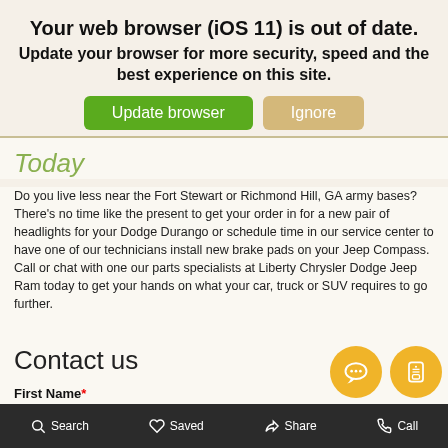Your web browser (iOS 11) is out of date.
Update your browser for more security, speed and the best experience on this site.
[Figure (screenshot): Two buttons: green 'Update browser' and tan 'Ignore']
Today
Do you live less near the Fort Stewart or Richmond Hill, GA army bases? There’s no time like the present to get your order in for a new pair of headlights for your Dodge Durango or schedule time in our service center to have one of our technicians install new brake pads on your Jeep Compass. Call or chat with one our parts specialists at Liberty Chrysler Dodge Jeep Ram today to get your hands on what your car, truck or SUV requires to go further.
Contact us
First Name*
Search   Saved   Share   Call